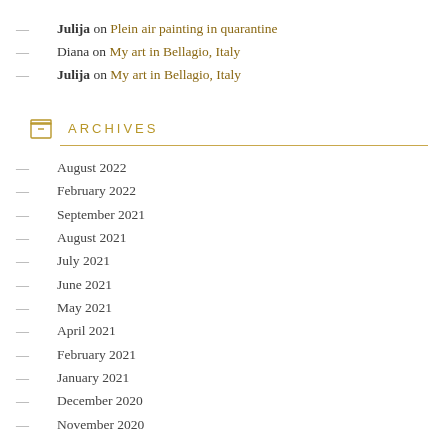Julija on Plein air painting in quarantine
Diana on My art in Bellagio, Italy
Julija on My art in Bellagio, Italy
ARCHIVES
August 2022
February 2022
September 2021
August 2021
July 2021
June 2021
May 2021
April 2021
February 2021
January 2021
December 2020
November 2020